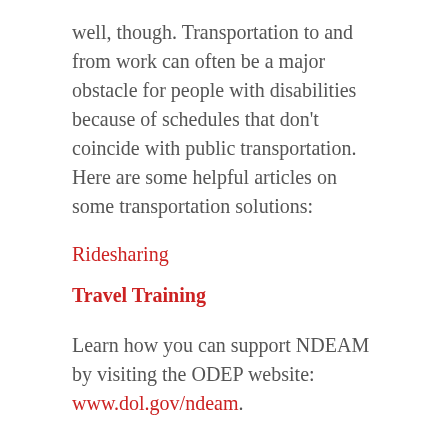well, though. Transportation to and from work can often be a major obstacle for people with disabilities because of schedules that don’t coincide with public transportation. Here are some helpful articles on some transportation solutions:
Ridesharing
Travel Training
Learn how you can support NDEAM by visiting the ODEP website: www.dol.gov/ndeam.
SHARE THIS ENTRY